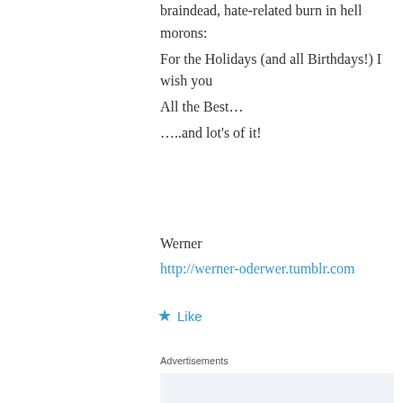braindead, hate-related burn in hell morons:
For the Holidays (and all Birthdays!) I wish you
All the Best…
….and lot's of it!
Werner
http://werner-oderwer.tumblr.com
★ Like
Advertisements
[Figure (screenshot): WordPress advertisement with text: Build a writing habit. Post on the go. GET THE APP, with WordPress logo in bottom right corner.]